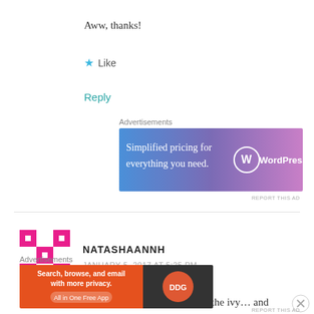Aww, thanks!
★ Like
Reply
Advertisements
[Figure (screenshot): WordPress.com advertisement banner: 'Simplified pricing for everything you need.' with WordPress.com logo on gradient blue-purple background]
REPORT THIS AD
NATASHAANNH
JANUARY 5, 2017 AT 5:25 PM
Ah, the fourth one is SO PRETTY! 😀 I like the ivy… and
Advertisements
[Figure (screenshot): DuckDuckGo advertisement banner: 'Search, browse, and email with more privacy. All in One Free App' on orange background with DuckDuckGo logo]
REPORT THIS AD